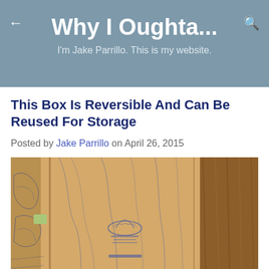Why I Oughta... I'm Jake Parrillo. This is my website.
This Box Is Reversible And Can Be Reused For Storage
Posted by Jake Parrillo on April 26, 2015
[Figure (photo): A Patagonia cardboard box shown from above, open and reversed, with illustrated wood-grain line drawings and the Patagonia logo visible on the inside surface. The box is placed next to a wooden surface with natural wood grain texture.]